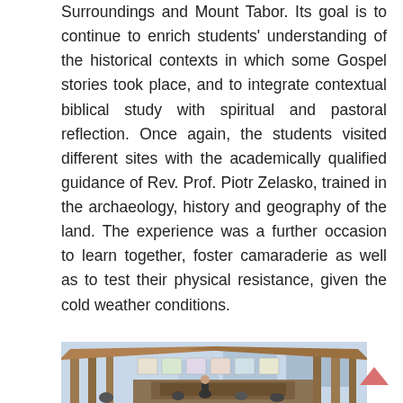Surroundings and Mount Tabor. Its goal is to continue to enrich students' understanding of the historical contexts in which some Gospel stories took place, and to integrate contextual biblical study with spiritual and pastoral reflection. Once again, the students visited different sites with the academically qualified guidance of Rev. Prof. Piotr Zelasko, trained in the archaeology, history and geography of the land. The experience was a further occasion to learn together, foster camaraderie as well as to test their physical resistance, given the cold weather conditions.
[Figure (photo): Photograph of students and people gathered under a wooden pavilion structure, with artwork/posters displayed on walls in the background and an archaeological excavation or site visible in the foreground.]